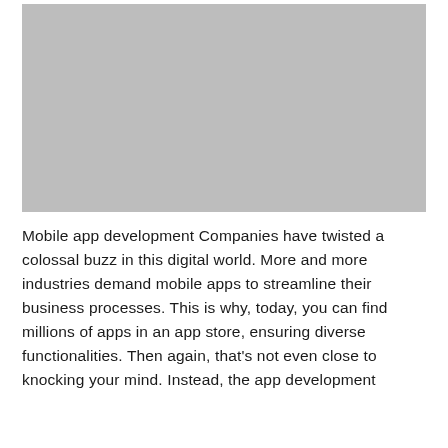[Figure (photo): Gray placeholder image representing a photo in a mobile app development article]
Mobile app development Companies have twisted a colossal buzz in this digital world. More and more industries demand mobile apps to streamline their business processes. This is why, today, you can find millions of apps in an app store, ensuring diverse functionalities. Then again, that’s not even close to knocking your mind. Instead, the app development